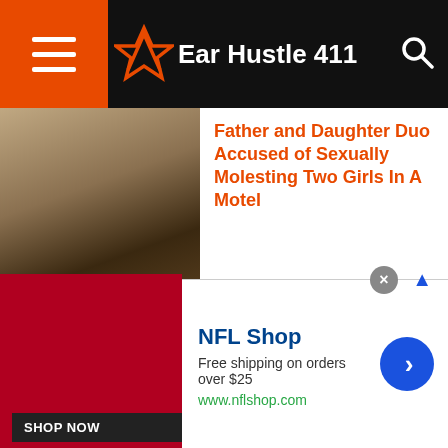Ear Hustle 411
Father and Daughter Duo Accused of Sexually Molesting Two Girls In A Motel
NEWS
[VIDEO] Georgia Woman Deliberately Spreads HIV To Men She Slept With And Calls Out Their Name On Live Video
NEWS
Uncooked Raw Chicken Crawls Off Table At Restaurant Leaving Everyone In Shock!
[Figure (photo): Advertisement banner: NFL Shop - Free shipping on orders over $25, www.nflshop.com, SHOP NOW button]